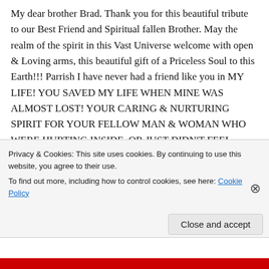My dear brother Brad. Thank you for this beautiful tribute to our Best Friend and Spiritual fallen Brother. May the realm of the spirit in this Vast Universe welcome with open & Loving arms, this beautiful gift of a Priceless Soul to this Earth!!! Parrish I have never had a friend like you in MY LIFE! YOU SAVED MY LIFE WHEN MINE WAS ALMOST LOST! YOUR CARING & NURTURING SPIRIT FOR YOUR FELLOW MAN & WOMAN WHO WERE HURTING INSIDE, OR JUST DIDN'T FEEL QUITE GOOD
Privacy & Cookies: This site uses cookies. By continuing to use this website, you agree to their use.
To find out more, including how to control cookies, see here: Cookie Policy
Close and accept